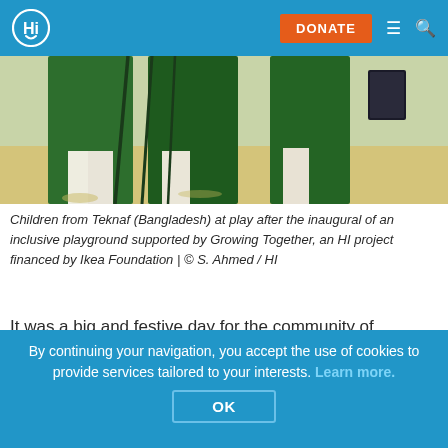HI [logo] | DONATE | menu | search
[Figure (photo): Children from Teknaf, Bangladesh, at play. Figures in green clothing under umbrellas/sticks on a sandy/outdoor area. A dark object visible at right.]
Children from Teknaf (Bangladesh) at play after the inaugural of an inclusive playground supported by Growing Together, an HI project financed by Ikea Foundation | © S. Ahmed / HI
It was a big and festive day for the community of Teknaf (Bangladesh), HI staff and especially the several dozens of children, when a representative from the Ministry of Social Welfare officially opened the first playground ever in the
By continuing your navigation, you accept the use of cookies to provide services tailored to your interests. Learn more.
OK